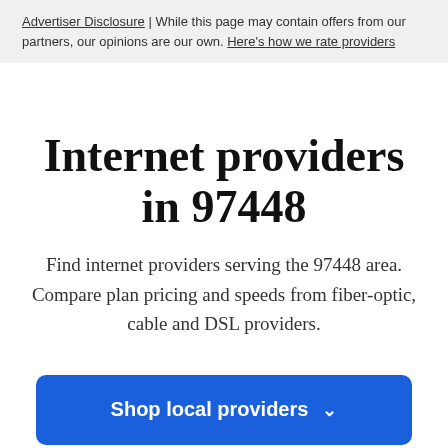Advertiser Disclosure | While this page may contain offers from our partners, our opinions are our own. Here's how we rate providers
Internet providers in 97448
Find internet providers serving the 97448 area. Compare plan pricing and speeds from fiber-optic, cable and DSL providers.
Shop local providers